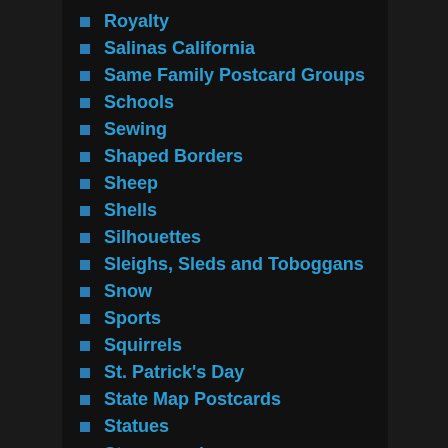Royalty
Salinas California
Same Family Postcard Groups
Schools
Sewing
Shaped Borders
Sheep
Shells
Silhouettes
Sleighs, Sleds and Toboggans
Snow
Sports
Squirrels
St. Patrick's Day
State Map Postcards
Statues
Stereographs
Stoves
Swans
Swimming
Teddy Bears